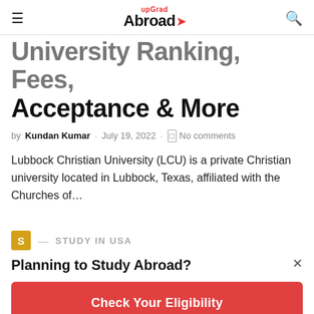upGrad Abroad
University Ranking, Fees, Acceptance & More
by Kundan Kumar · July 19, 2022 · No comments
Lubbock Christian University (LCU) is a private Christian university located in Lubbock, Texas, affiliated with the Churches of...
S — STUDY IN USA
Planning to Study Abroad?
Check Your Eligibility